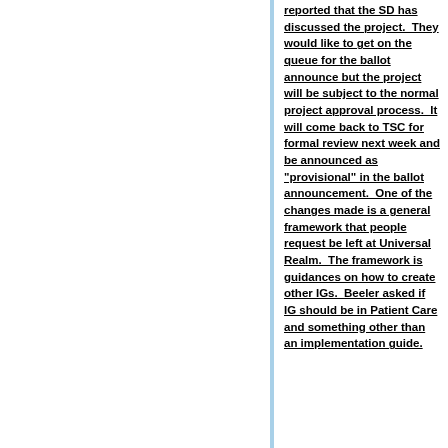reported that the SD has discussed the project. They would like to get on the queue for the ballot announce but the project will be subject to the normal project approval process. It will come back to TSC for formal review next week and be announced as "provisional" in the ballot announcement. One of the changes made is a general framework that people request be left at Universal Realm. The framework is guidances on how to create other IGs. Beeler asked if IG should be in Patient Care and something other than an implementation guide.